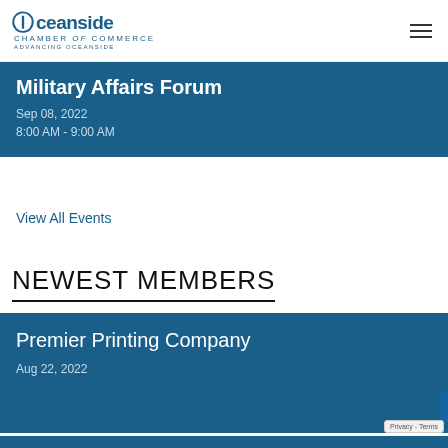Oceanside Chamber of Commerce — Advancing Oceanside
Military Affairs Forum
Sep 08, 2022
8:00 AM - 9:00 AM
View All Events
NEWEST MEMBERS
Premier Printing Company
Aug 22, 2022
Privacy - Terms